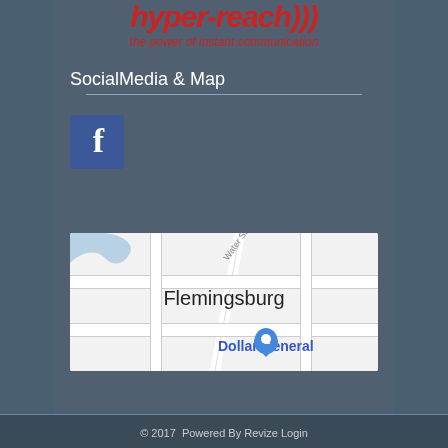hyper-reach))) the power of instant communication
SocialMedia & Map
[Figure (logo): Facebook logo icon - blue square with white 'f']
[Figure (map): Google Maps snippet showing Flemingsburg area with Dollar General marker]
© 2017  Powered By Revize Login